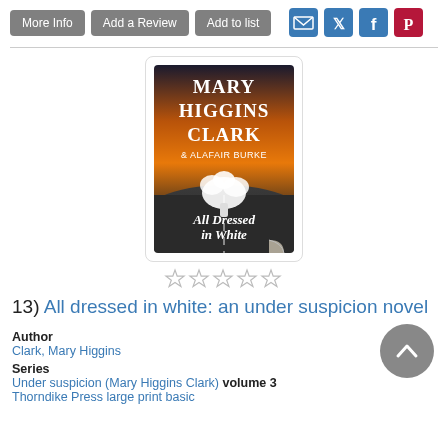More Info | Add a Review | Add to list
[Figure (photo): Book cover of 'All Dressed in White' by Mary Higgins Clark and Alafair Burke, showing a bridal bouquet on a road with an orange/dark sky background]
☆☆☆☆☆
13) All dressed in white: an under suspicion novel
Author
Clark, Mary Higgins
Series
Under suspicion (Mary Higgins Clark) volume 3
Thorndike Press large print basic